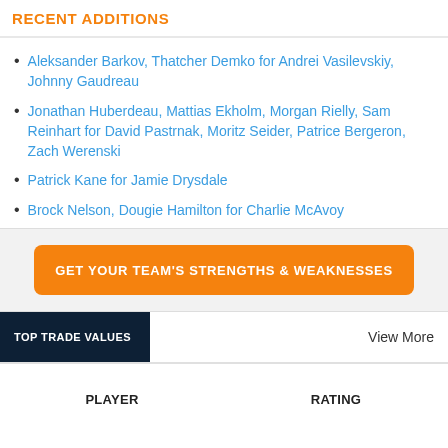RECENT ADDITIONS
Aleksander Barkov, Thatcher Demko for Andrei Vasilevskiy, Johnny Gaudreau
Jonathan Huberdeau, Mattias Ekholm, Morgan Rielly, Sam Reinhart for David Pastrnak, Moritz Seider, Patrice Bergeron, Zach Werenski
Patrick Kane for Jamie Drysdale
Brock Nelson, Dougie Hamilton for Charlie McAvoy
GET YOUR TEAM'S STRENGTHS & WEAKNESSES
TOP TRADE VALUES
View More
| PLAYER | RATING |
| --- | --- |